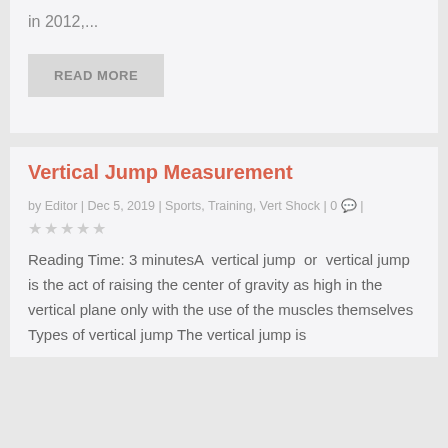in 2012,...
READ MORE
Vertical Jump Measurement
by Editor | Dec 5, 2019 | Sports, Training, Vert Shock | 0 💬 |
★★★★★
Reading Time: 3 minutesA  vertical jump  or  vertical jump  is the act of raising the center of gravity as high in the vertical plane only with the use of the muscles themselves  Types of vertical jump The vertical jump is